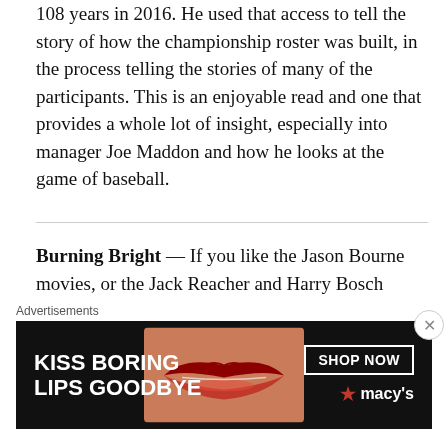108 years in 2016. He used that access to tell the story of how the championship roster was built, in the process telling the stories of many of the participants. This is an enjoyable read and one that provides a whole lot of insight, especially into manager Joe Maddon and how he looks at the game of baseball.
Burning Bright — If you like the Jason Bourne movies, or the Jack Reacher and Harry Bosch books, you will enjoy reading author Nick Petrie's works that feature Peter Ash, an Afghanistan veteran who battles white noise...
[Figure (other): Advertisement banner for Macy's cosmetics: 'KISS BORING LIPS GOODBYE' with red lips image and 'SHOP NOW' button with Macy's star logo]